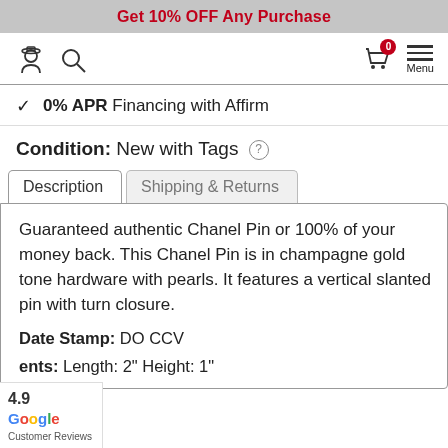Get 10% OFF Any Purchase
[Figure (screenshot): Navigation bar with user icon, search icon, cart icon with 0 badge, and hamburger menu]
✓ 0% APR Financing with Affirm
Condition: New with Tags ?
Description | Shipping & Returns
Guaranteed authentic Chanel Pin or 100% of your money back. This Chanel Pin is in champagne gold tone hardware with pearls. It features a vertical slanted pin with turn closure.
Date Stamp: DO CCV
ents: Length: 2" Height: 1"
[Figure (logo): Google Customer Reviews badge with 4.9 rating]